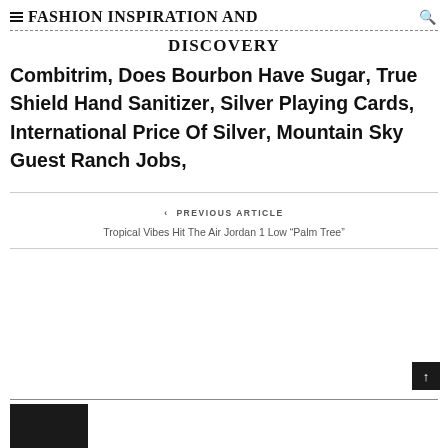FASHION INSPIRATION AND DISCOVERY
Combitrim, Does Bourbon Have Sugar, True Shield Hand Sanitizer, Silver Playing Cards, International Price Of Silver, Mountain Sky Guest Ranch Jobs,
PREVIOUS ARTICLE
Tropical Vibes Hit The Air Jordan 1 Low “Palm Tree”